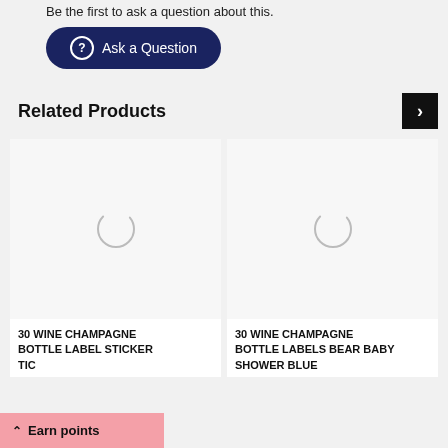Be the first to ask a question about this.
Ask a Question
Related Products
[Figure (screenshot): Loading spinner / placeholder circle for product image 1]
30 WINE CHAMPAGNE BOTTLE LABEL STICKER TIC
[Figure (screenshot): Loading spinner / placeholder circle for product image 2]
30 WINE CHAMPAGNE BOTTLE LABELS BEAR BABY SHOWER BLUE
Earn points